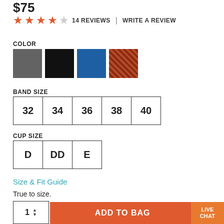$75
14 REVIEWS | WRITE A REVIEW
COLOR
[Figure (illustration): Four color swatches: gray, black, blue, and red patterned]
BAND SIZE
32
34
36
38
40
CUP SIZE
D
DD
E
Size & Fit Guide
True to size.
Availability: Select all product options to see availability
1  ADD TO BAG
LIVE CHAT